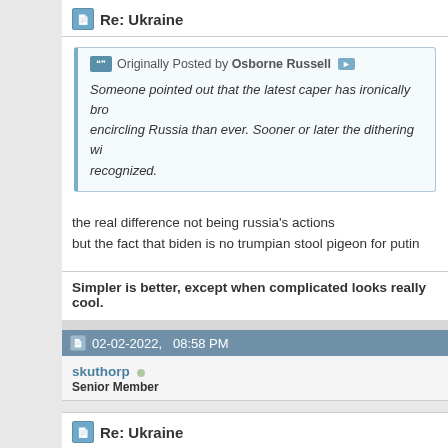Re: Ukraine
Originally Posted by Osborne Russell
Someone pointed out that the latest caper has ironically bro... encircling Russia than ever. Sooner or later the dithering wi... recognized.
the real difference not being russia's actions
but the fact that biden is no trumpian stool pigeon for putin
Simpler is better, except when complicated looks really cool.
02-02-2022,   08:58 PM
skuthorp
Senior Member
Re: Ukraine